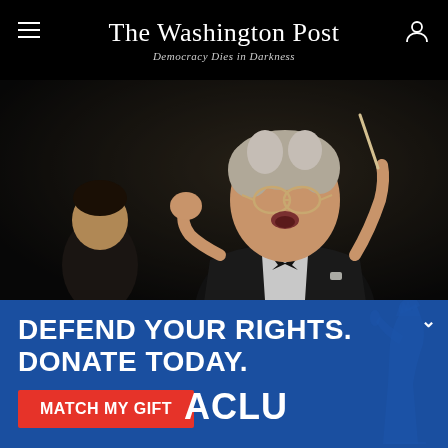The Washington Post — Democracy Dies in Darkness
[Figure (photo): A conductor in a black tuxedo with white bow tie, gesturing energetically with both hands while conducting, mouth open, wearing glasses, with a musician visible in the background.]
DEFEND YOUR RIGHTS. DONATE TODAY.
MATCH MY GIFT
[Figure (logo): ACLU logo in white bold text on blue background]